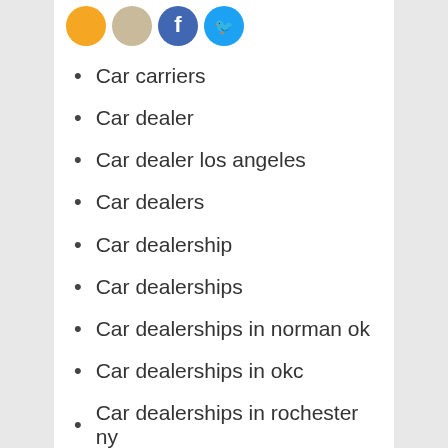[Figure (other): Row of four circular social media / platform icons: orange, beige/tan, blue (Facebook), light blue (Twitter)]
Car carriers
Car dealer
Car dealer los angeles
Car dealers
Car dealership
Car dealerships
Car dealerships in norman ok
Car dealerships in okc
Car dealerships in rochester ny
Car dent removal
Car dents